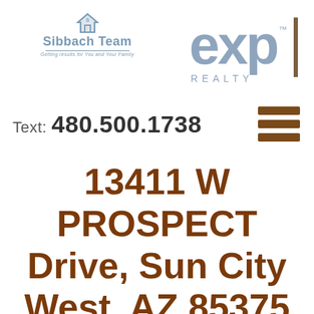[Figure (logo): Sibbach Team logo with house icon and tagline 'Getting results for You and Your Family', alongside eXp Realty logo]
Text: 480.500.1738
13411 W PROSPECT Drive, Sun City West, AZ 85375 (MLS# 6379191)